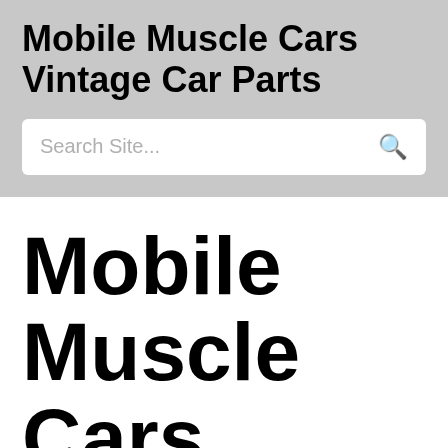Mobile Muscle Cars Vintage Car Parts
Search Site...
Mobile Muscle Cars